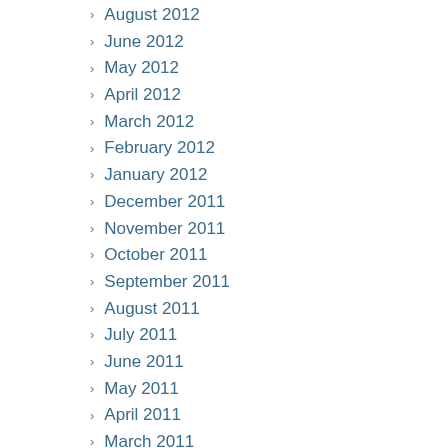August 2012
June 2012
May 2012
April 2012
March 2012
February 2012
January 2012
December 2011
November 2011
October 2011
September 2011
August 2011
July 2011
June 2011
May 2011
April 2011
March 2011
February 2011